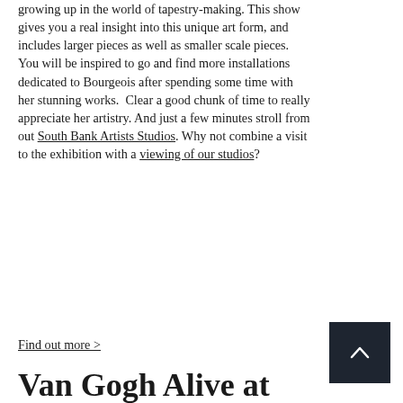growing up in the world of tapestry-making. This show gives you a real insight into this unique art form, and includes larger pieces as well as smaller scale pieces. You will be inspired to go and find more installations dedicated to Bourgeois after spending some time with her stunning works.  Clear a good chunk of time to really appreciate her artistry. And just a few minutes stroll from out South Bank Artists Studios. Why not combine a visit to the exhibition with a viewing of our studios?
Find out more >
Van Gogh Alive at The Piazza MediaCityUK,